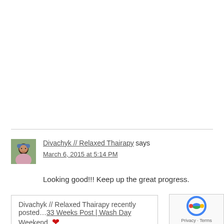Divachyk // Relaxed Thairapy says
March 6, 2015 at 5:14 PM
Looking good!!! Keep up the great progress.
Divachyk // Relaxed Thairapy recently posted…33 Weeks Post | Wash Day Weekend